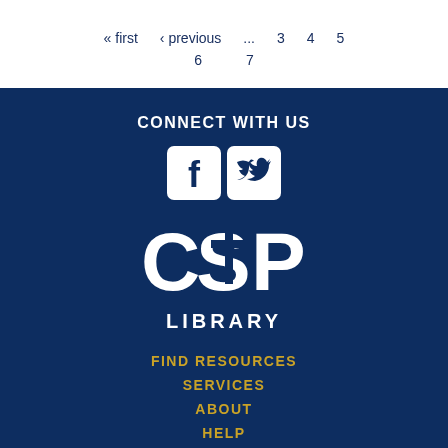« first  ‹ previous  ...  3  4  5  6  7
CONNECT WITH US
[Figure (logo): Facebook and Twitter social media icons side by side]
[Figure (logo): CSP Library logo with cross in the letter S]
FIND RESOURCES
SERVICES
ABOUT
HELP